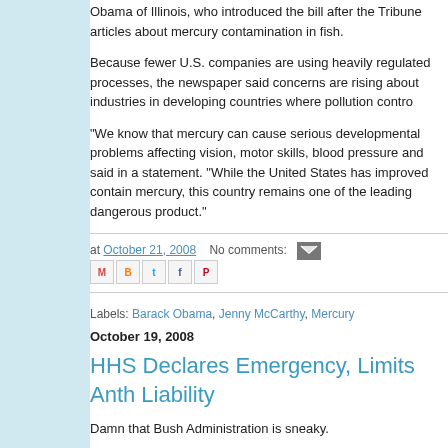Obama of Illinois, who introduced the bill after the Tribune articles about mercury contamination in fish.
Because fewer U.S. companies are using heavily regulated processes, the newspaper said concerns are rising about industries in developing countries where pollution contro...
"We know that mercury can cause serious developmental problems affecting vision, motor skills, blood pressure and said in a statement. "While the United States has improved contain mercury, this country remains one of the leading dangerous product."
at October 21, 2008   No comments:   Labels: Barack Obama, Jenny McCarthy, Mercury
October 19, 2008
HHS Declares Emergency, Limits Anthrax Liability
Damn that Bush Administration is sneaky.